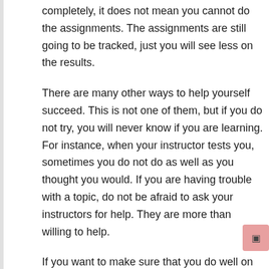completely, it does not mean you cannot do the assignments. The assignments are still going to be tracked, just you will see less on the results.
There are many other ways to help yourself succeed. This is not one of them, but if you do not try, you will never know if you are learning. For instance, when your instructor tests you, sometimes you do not do as well as you thought you would. If you are having trouble with a topic, do not be afraid to ask your instructors for help. They are more than willing to help.
If you want to make sure that you do well on the computer science GCPE student room, you need to keep practicing. This is not going to be easy, but it is